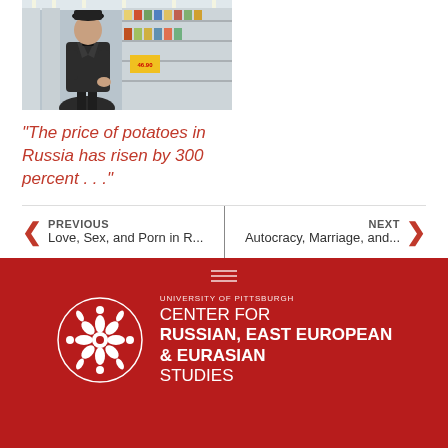[Figure (photo): An older man in a dark coat and cap standing in a grocery store aisle with shelves of products visible in the background.]
“The price of potatoes in Russia has risen by 300 percent . . .”
PREVIOUS
Love, Sex, and Porn in R...
NEXT
Autocracy, Marriage, and...
[Figure (logo): University of Pittsburgh Center for Russian, East European & Eurasian Studies logo with white floral emblem on red background.]